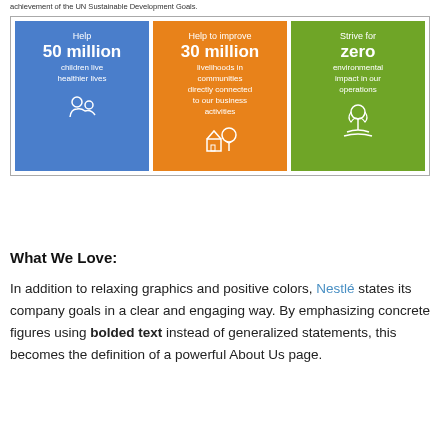achievement of the UN Sustainable Development Goals.
[Figure (infographic): Three colored cards side by side: blue card 'Help 50 million children live healthier lives', orange card 'Help to improve 30 million livelihoods in communities directly connected to our business activities', green card 'Strive for zero environmental impact in our operations', each with a white icon at the bottom.]
What We Love:
In addition to relaxing graphics and positive colors, Nestlé states its company goals in a clear and engaging way. By emphasizing concrete figures using bolded text instead of generalized statements, this becomes the definition of a powerful About Us page.